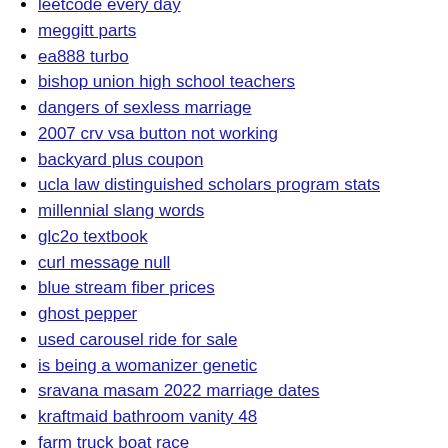leetcode every day
meggitt parts
ea888 turbo
bishop union high school teachers
dangers of sexless marriage
2007 crv vsa button not working
backyard plus coupon
ucla law distinguished scholars program stats
millennial slang words
glc2o textbook
curl message null
blue stream fiber prices
ghost pepper
used carousel ride for sale
is being a womanizer genetic
sravana masam 2022 marriage dates
kraftmaid bathroom vanity 48
farm truck boat race
easy kpop quiz
how to upload mp3 to tiktok
john deere z920m oil capacity
pennsylvania shooting
michael vickers obituary
fantasy 5 repeat numbers
kelly schulz polling